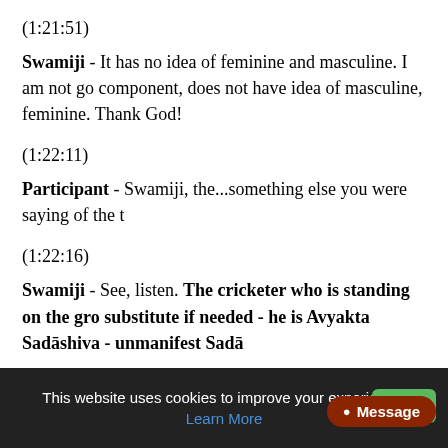(1:21:51)
Swamiji - It has no idea of feminine and masculine. I am not go component, does not have idea of masculine, feminine. Thank God!
(1:22:11)
Participant - Swamiji, the...something else you were saying of the t
(1:22:16)
Swamiji - See, listen. The cricketer who is standing on the gro substitute if needed - he is Avyakta Sadāshiva - unmanifest Sadā
This website uses cookies to improve your experience. Learn More  Got  Message